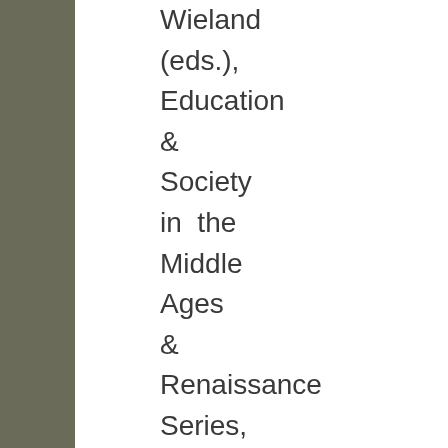Wieland (eds.), Education & Society in the Middle Ages & Renaissance Series, Vol. 6, ISBN 9004102124, 435 pages, Leiden (Brill), 1995, p. 201-